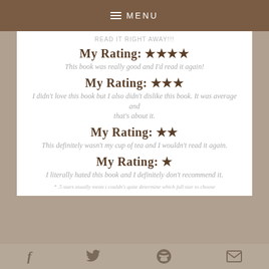≡ MENU
READ IT RIGHT AWAY!!!
My Rating: ★★★★
This book was really good and I'd read it again!
My Rating: ★★★
I didn't love this book but I also didn't dislike this book. It was average and that's about it.
My Rating: ★★
This definitely wasn't my cup of tea and I wouldn't read it again.
My Rating: ★
I literally hated this book and I definitely don't recommend it.
* .5 stars usually mean i couldn't quite determine which full star to choose
f  Twitter  P  mail